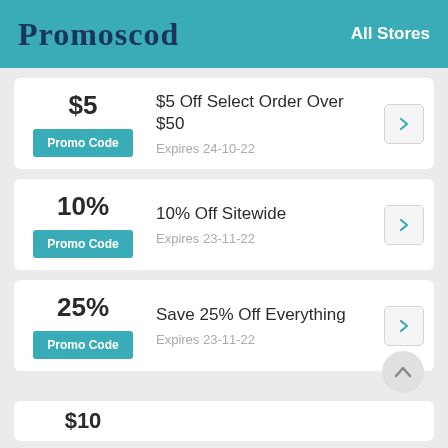Promoscod   All Stores
$5
Promo Code
$5 Off Select Order Over $50
Expires 24-10-22
10%
Promo Code
10% Off Sitewide
Expires 23-11-22
25%
Promo Code
Save 25% Off Everything
Expires 23-11-22
$10